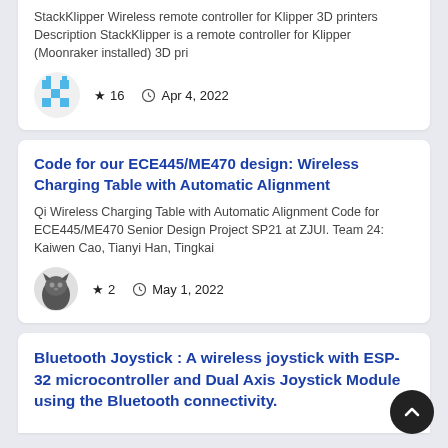StackKlipper Wireless remote controller for Klipper 3D printers Description StackKlipper is a remote controller for Klipper (Moonraker installed) 3D pri
[Figure (other): Blue and white pixel/checkerboard pattern avatar in a circle]
★ 16  🕐 Apr 4, 2022
Code for our ECE445/ME470 design: Wireless Charging Table with Automatic Alignment
Qi Wireless Charging Table with Automatic Alignment Code for ECE445/ME470 Senior Design Project SP21 at ZJUI. Team 24: Kaiwen Cao, Tianyi Han, Tingkai
[Figure (other): Dark cat/animal avatar in a circle]
★ 2  🕐 May 1, 2022
Bluetooth Joystick : A wireless joystick with ESP-32 microcontroller and Dual Axis Joystick Module using the Bluetooth connectivity.